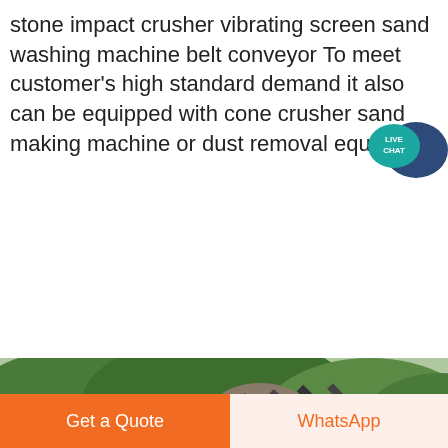stone impact crusher vibrating screen sand washing machine belt conveyor To meet customer's high standard demand it also can be equipped with cone crusher sand making machine or dust removal equipment
[Figure (other): Orange 'LIVE CHAT' speech bubble icon in the upper right corner]
[Figure (other): Orange rounded button labeled 'Get price']
[Figure (photo): Outdoor photo of industrial crushing/conveyor equipment with a green forested hill in the background]
[Figure (other): Dark circular scroll-up arrow button]
[Figure (other): Footer bar with 'Get a Quote' orange button and 'WhatsApp' light button]